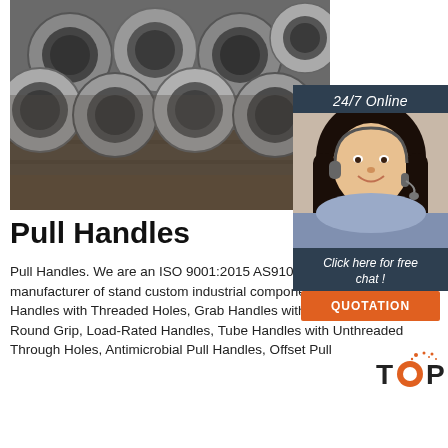[Figure (photo): Steel tubes/pipes stacked together, showing circular cross-sections, gray metallic color]
[Figure (photo): 24/7 Online customer service agent - woman with headset smiling, with sidebar panel showing 'Click here for free chat!' and QUOTATION button]
Pull Handles
Pull Handles. We are an ISO 9001:2015 AS9100D certified manufacturer of standard and custom industrial components including : Pull Handles with Threaded Holes, Grab Handles with Threaded Studs and Round Grip, Load-Rated Handles, Tube Handles with Unthreaded Through Holes, Antimicrobial Pull Handles, Offset Pull